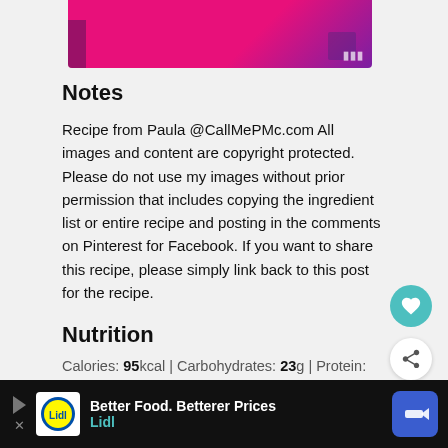[Figure (photo): Partial recipe image visible at top of page with pink/magenta background]
Notes
Recipe from Paula @CallMePMc.com All images and content are copyright protected. Please do not use my images without prior permission that includes copying the ingredient list or entire recipe and posting in the comments on Pinterest for Facebook. If you want to share this recipe, please simply link back to this post for the recipe.
Nutrition
Calories: 95kcal | Carbohydrates: 23g | Protein: 1g | Fat: 1g | Saturated Fat: 1g | Sodium: 5mg | Potassium: 239mg | Fiber: 1g | Sugar: 18g |
[Figure (other): Lidl advertisement banner: Better Food. Betterer Prices - Lidl]